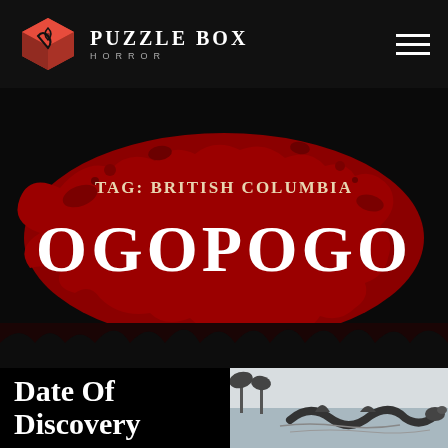Puzzle Box Horror
TAG: BRITISH COLUMBIA
OGOPOGO
Date of Discovery
[Figure (illustration): Black and white illustration of a sea serpent creature (Ogopogo) near a shoreline with palm trees]